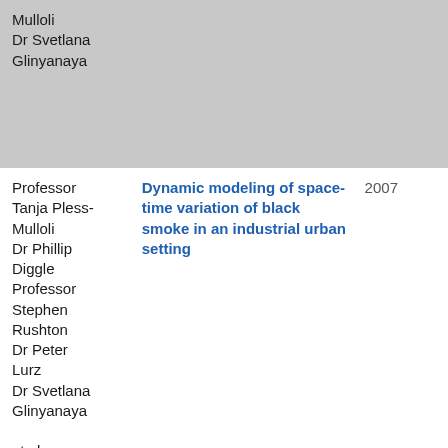| Authors | Title | Year |
| --- | --- | --- |
| Mulloli
Dr Svetlana Glinyanaya |  |  |
| Professor Tanja Pless-Mulloli
Dr Phillip Diggle
Professor Stephen Rushton
Dr Peter Lurz
Dr Svetlana Glinyanaya
et al. | Dynamic modeling of space-time variation of black smoke in an industrial urban setting | 2007 |
| Dr Svetlana Glinyanaya
Professor Tanja Pless- | Family, mother and child characteristics in singleton births in an industrial city over 32 | 2007 |